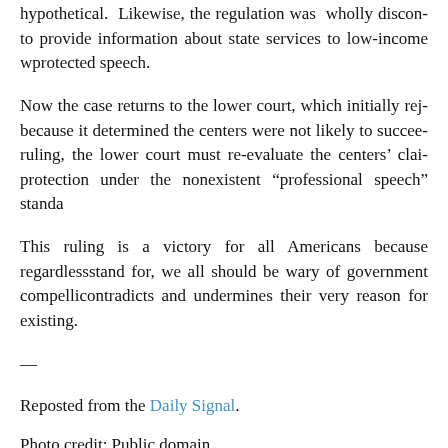hypothetical. Likewise, the regulation was wholly discon... to provide information about state services to low-income w... protected speech.
Now the case returns to the lower court, which initially rej... because it determined the centers were not likely to succee... ruling, the lower court must re-evaluate the centers' clai... protection under the nonexistent “professional speech” standa...
This ruling is a victory for all Americans because regardless... stand for, we all should be wary of government compelli... contradicts and undermines their very reason for existing.
—
Reposted from the Daily Signal.
Photo credit: Public domain